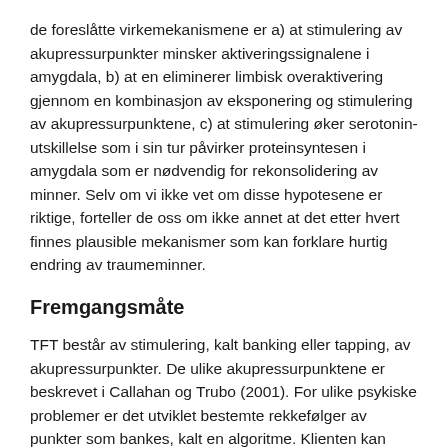de foreslåtte virkemekanismene er a) at stimulering av akupressurpunkter minsker aktiveringssignalene i amygdala, b) at en eliminerer limbisk overaktivering gjennom en kombinasjon av eksponering og stimulering av akupressurpunktene, c) at stimulering øker serotonin­utskillelse som i sin tur påvirker proteinsyntesen i amygdala som er nødvendig for rekonsolidering av minner. Selv om vi ikke vet om disse hypotesene er riktige, forteller de oss om ikke annet at det etter hvert finnes plausible mekanismer som kan forklare hurtig endring av traumeminner.
Fremgangsmåte
TFT består av stimulering, kalt banking eller tapping, av akupressurpunkter. De ulike akupressurpunktene er beskrevet i Callahan og Trubo (2001). For ulike psykiske problemer er det utviklet bestemte rekkefølger av punkter som bankes, kalt en algoritme. Klienten kan banke selv, eller terapeuten kan gjøre det.